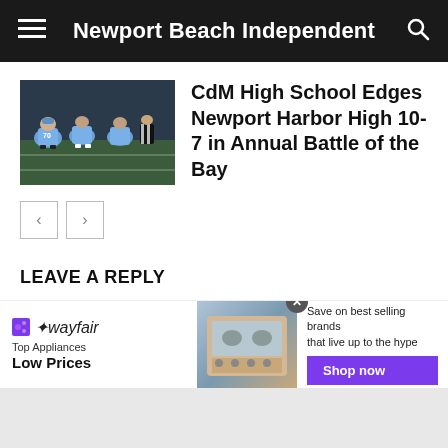Newport Beach Independent
[Figure (photo): Football game photo showing players in light blue jerseys in action on the field at night]
CdM High School Edges Newport Harbor High 10-7 in Annual Battle of the Bay
< >
LEAVE A REPLY
LOG IN TO LEAVE A COMMENT
[Figure (photo): Wayfair advertisement: Top Appliances Low Prices, Save on best selling brands that live up to the hype, Shop now]